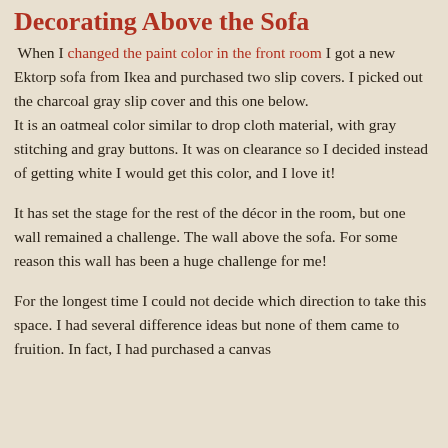Decorating Above the Sofa
When I changed the paint color in the front room I got a new Ektorp sofa from Ikea and purchased two slip covers. I picked out the charcoal gray slip cover and this one below.
It is an oatmeal color similar to drop cloth material, with gray stitching and gray buttons. It was on clearance so I decided instead of getting white I would get this color, and I love it!
It has set the stage for the rest of the décor in the room, but one wall remained a challenge. The wall above the sofa. For some reason this wall has been a huge challenge for me!
For the longest time I could not decide which direction to take this space. I had several difference ideas but none of them came to fruition. In fact, I had purchased a canvas